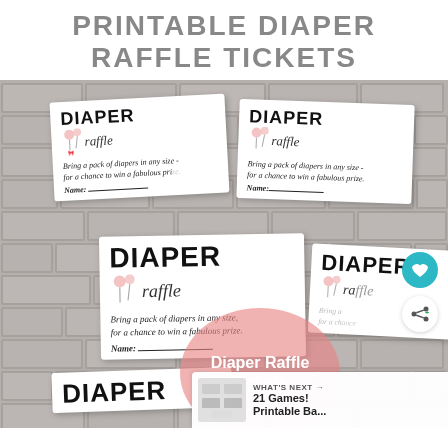PRINTABLE DIAPER RAFFLE TICKETS
[Figure (photo): Multiple printable diaper raffle ticket cards fanned out on a brick wall background. Each card reads 'DIAPER raffle' with pink balloon illustrations and text 'Bring a pack of diapers in any size - for a chance to win a fabulous prize.' with a Name line. Overlaid with a teal heart button, a share button, a pink circle overlay with 'Diaper Raffle Tickets' text, and a 'WHAT'S NEXT' panel showing '21 Games! Printable Ba...' with a thumbnail.]